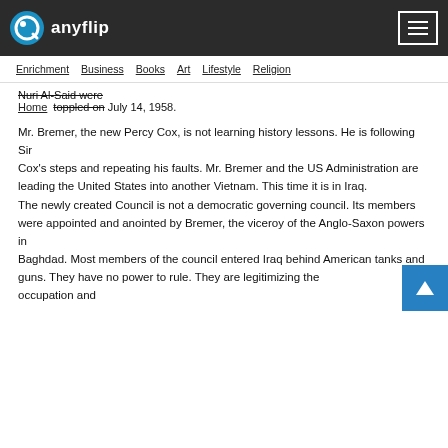anyflip
Enrichment  Business  Books  Art  Lifestyle  Religion
Nuri Al-Said were toppled on July 14, 1958.
Mr. Bremer, the new Percy Cox, is not learning history lessons. He is following Sir Cox's steps and repeating his faults. Mr. Bremer and the US Administration are leading the United States into another Vietnam. This time it is in Iraq. The newly created Council is not a democratic governing council. Its members were appointed and anointed by Bremer, the viceroy of the Anglo-Saxon powers in Baghdad. Most members of the council entered Iraq behind American tanks and guns. They have no power to rule. They are legitimizing the occupation and